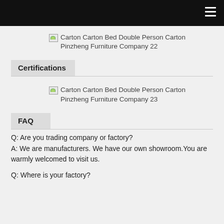[Figure (photo): Broken image placeholder for Carton Carton Bed Double Person Carton Pinzheng Furniture Company 22]
Certifications
[Figure (photo): Broken image placeholder for Carton Carton Bed Double Person Carton Pinzheng Furniture Company 23]
FAQ
Q: Are you trading company or factory?
A: We are manufacturers. We have our own showroom.You are warmly welcomed to visit us.
Q: Where is your factory?